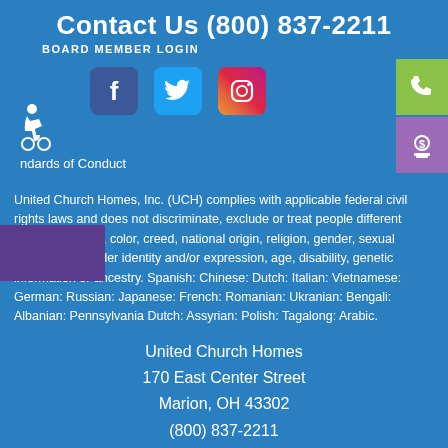Contact Us (800) 837-2211
BOARD MEMBER LOGIN
[Figure (infographic): Social media icons for Facebook, Twitter, Instagram, wheelchair accessibility icon, green phone button, purple dollar/pay button, Standards of Conduct link]
United Church Homes, Inc. (UCH) complies with applicable federal civil rights laws and does not discriminate, exclude or treat people different because of race, color, creed, national origin, religion, gender, sexual orientation, gender identity and/or expression, age, disability, genetic information or ancestry. Spanish: Chinese: Dutch: Italian: Vietnamese: German: Russian: Japanese: French: Romanian: Ukranian: Bengali: Albanian: Pennsylvania Dutch: Assyrian: Polish: Tagalong: Arabic.
United Church Homes
170 East Center Street
Marion, OH 43302
(800) 837-2211
TTY: (800) 750-0750
Contact Us